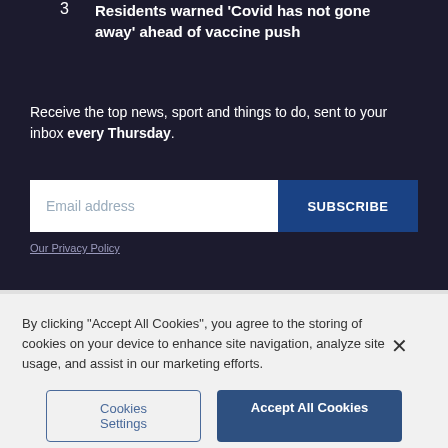3 Residents warned 'Covid has not gone away' ahead of vaccine push
Receive the top news, sport and things to do, sent to your inbox every Thursday.
Email address
SUBSCRIBE
Our Privacy Policy
By clicking "Accept All Cookies", you agree to the storing of cookies on your device to enhance site navigation, analyze site usage, and assist in our marketing efforts.
Cookies Settings
Accept All Cookies